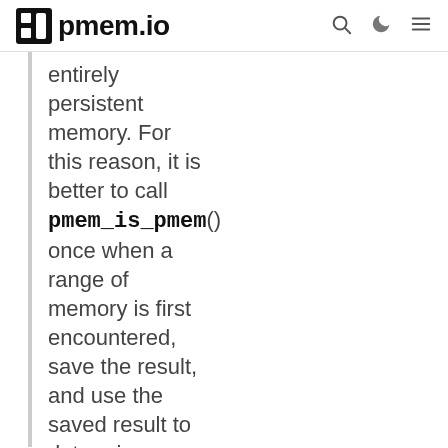pmem.io
entirely persistent memory. For this reason, it is better to call pmem_is_pmem() once when a range of memory is first encountered, save the result, and use the saved result to determine whether